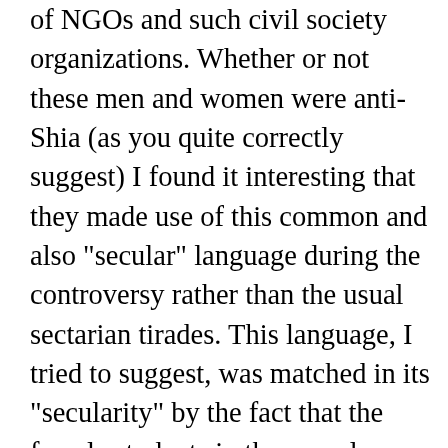of NGOs and such civil society organizations. Whether or not these men and women were anti-Shia (as you quite correctly suggest) I found it interesting that they made use of this common and also "secular" language during the controversy rather than the usual sectarian tirades. This language, I tried to suggest, was matched in its "secularity" by the fact that the female students in the complex were taught English and science, thus departing from the usual stereotype of a radical madrassa--English and science being the very subjects that "secularists" insist upon when talking about madrassa reformation. My third point